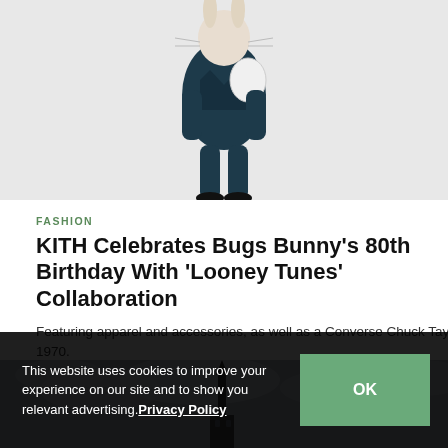[Figure (illustration): Illustrated character in dark navy suit holding something white, on a light gray background]
FASHION
KITH Celebrates Bugs Bunny's 80th Birthday With 'Looney Tunes' Collaboration
Featuring apparel and accessories, as well as a Converse Chuck Taylor 1970.
By YeEun Kim  Jul 8, 2020  🔥 6.9K
[Figure (photo): Cityscape photo with a dark spire/tower against cloudy sky]
This website uses cookies to improve your experience on our site and to show you relevant advertising. Privacy Policy